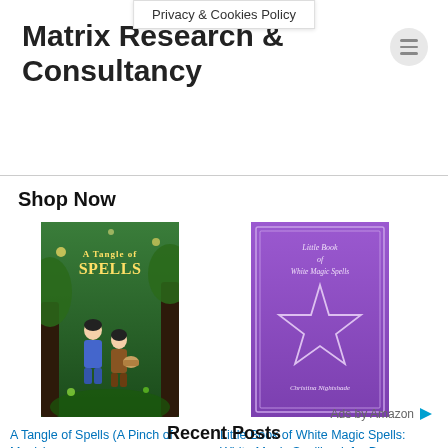Privacy & Cookies Policy
Matrix Research & Consultancy
Shop Now
[Figure (illustration): Book cover: A Tangle of Spells — two girls in a fantasy forest setting with magical elements, green tones]
A Tangle of Spells (A Pinch of Magic)
$17.99 ✓prime
★★★★★ (446)
[Figure (illustration): Book cover: Little Book of White Magic Spells — purple cover with a pentagram star symbol and small text]
Little Book of White Magic Spells: White Magic Spellbook for B...
$2.99
★★★★½ (87)
Ads by Amazon
Recent Posts